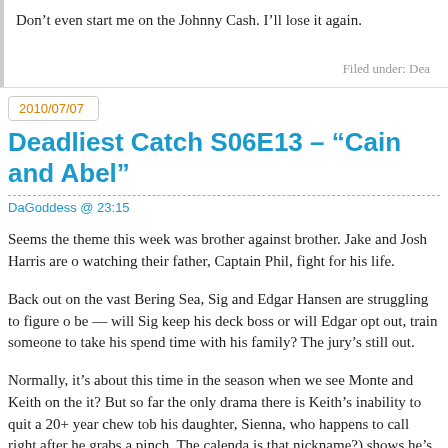Don’t even start me on the Johnny Cash. I’ll lose it again.
Filed under: Dea
2010/07/07
Deadliest Catch S06E13 – “Cain and Abel”
DaGoddess @ 23:15
Seems the theme this week was brother against brother. Jake and Josh Harris are o watching their father, Captain Phil, fight for his life.
Back out on the vast Bering Sea, Sig and Edgar Hansen are struggling to figure o be — will Sig keep his deck boss or will Edgar opt out, train someone to take his spend time with his family? The jury’s still out.
Normally, it’s about this time in the season when we see Monte and Keith on the it? But so far the only drama there is Keith’s inability to quit a 20+ year chew tob his daughter, Sienna, who happens to call right after he grabs a pinch. The calenda is that nickname?) shows he’s not been very successful in fighting the urge to kic dirty habits-that’s what happens when you play a game of with your life as collate faced is the ice pack. Stressful job equals dirty habits. The other problem Keith ha first time during opie season we’ve heard about the pack, but we know how frau previous years. Thankfully, the Wizard’s gear is out in open water and the hauling